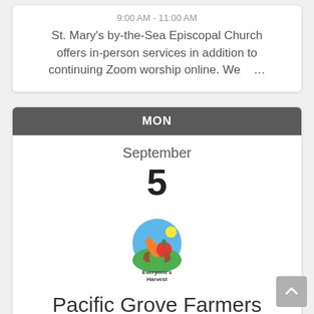9:00 AM - 11:00 AM
St. Mary's by-the-Sea Episcopal Church offers in-person services in addition to continuing Zoom worship online. We …
MON
September
5
[Figure (logo): Everyone's Harvest logo — hands holding vegetables/fruit in a circular green and blue design with text 'Everyone's Harvest']
Pacific Grove Farmers